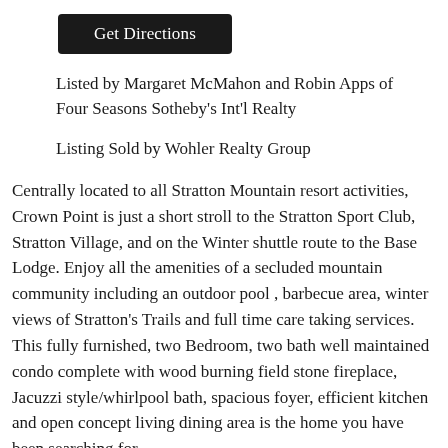Get Directions
Listed by Margaret McMahon and Robin Apps of Four Seasons Sotheby's Int'l Realty
Listing Sold by Wohler Realty Group
Centrally located to all Stratton Mountain resort activities, Crown Point is just a short stroll to the Stratton Sport Club, Stratton Village, and on the Winter shuttle route to the Base Lodge. Enjoy all the amenities of a secluded mountain community including an outdoor pool , barbecue area, winter views of Stratton's Trails and full time care taking services. This fully furnished, two Bedroom, two bath well maintained condo complete with wood burning field stone fireplace, Jacuzzi style/whirlpool bath, spacious foyer, efficient kitchen and open concept living dining area is the home you have been searching for.